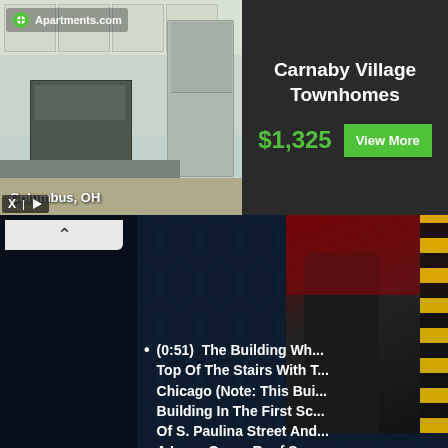[Figure (screenshot): Advertisement banner for Carnaby Village Townhomes on Apartments.com. Shows a kitchen photo labeled Columbus, OH on the left side with green Apartments.com branding. Right side shows dark background with property name, price $1,325, and View More button.]
[Figure (screenshot): Website interface with dark navy background. Left panel is dark. Upper right shows a partial photo of a person standing near stairs with yellow warning stripes. Lower section shows a bullet point list item about the building.]
(0:51)  The Building Wh... Top Of The Stairs With T... Chicago (Note: This Bui... Building In The First Sc... Of S. Paulina Street And... A Long Green Roof See... S. Paulina Street About ... Building)
[Figure (screenshot): Partial photo at bottom right showing a gray building exterior.]